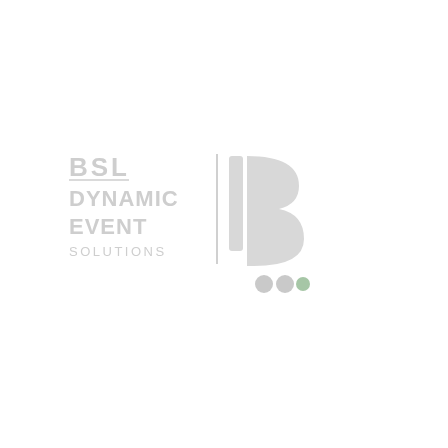[Figure (logo): BSL Dynamic Event Solutions logo combined with L3 Arabic numeral mark. Left side has text 'BSL' (underlined), 'DYNAMIC', 'EVENT', 'SOLUTIONS' in light gray. A vertical gray divider separates the text from a large stylized '13' Arabic numeral glyph in light gray, with three dots (two gray, one green) below the numeral.]